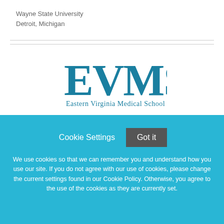Wayne State University
Detroit, Michigan
[Figure (logo): EVMS Eastern Virginia Medical School logo in teal/blue color]
Academic Hospitalist - Internal Medicine Faculty -
Cookie Settings   Got it

We use cookies so that we can remember you and understand how you use our site. If you do not agree with our use of cookies, please change the current settings found in our Cookie Policy. Otherwise, you agree to the use of the cookies as they are currently set.